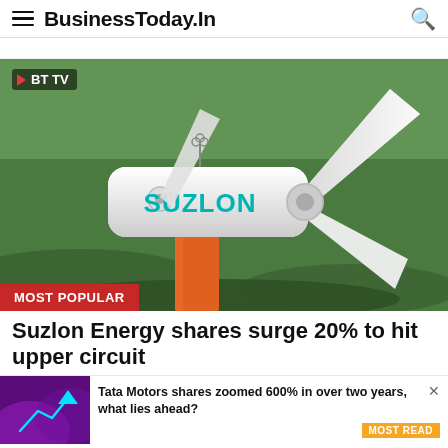BusinessToday.In
[Figure (photo): Aerial view of a Suzlon wind turbine with large white blades, orange tower, and green field background. BT TV badge in top-left corner. 'MOST POPULAR' red label at bottom-left.]
Suzlon Energy shares surge 20% to hit upper circuit
Tata Motors shares zoomed 600% in over two years, what lies ahead?